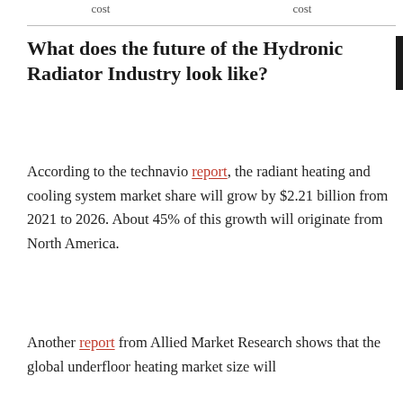cost    cost
What does the future of the Hydronic Radiator Industry look like?
According to the technavio report, the radiant heating and cooling system market share will grow by $2.21 billion from 2021 to 2026. About 45% of this growth will originate from North America.
Another report from Allied Market Research shows that the global underfloor heating market size will